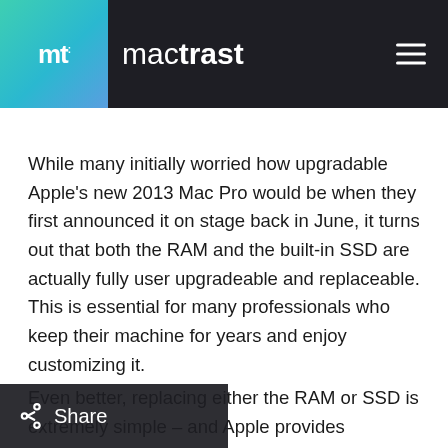mt: mactrast
While many initially worried how upgradable Apple's new 2013 Mac Pro would be when they first announced it on stage back in June, it turns out that both the RAM and the built-in SSD are actually fully user upgradeable and replaceable. This is essential for many professionals who keep their machine for years and enjoy customizing it.
Even better, replacing either the RAM or SSD is extremely simple – and Apple provides instructions with a pair of